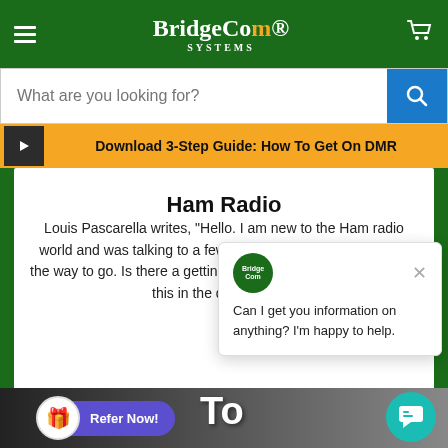BridgeCom Systems
What are you looking for?
Download 3-Step Guide: How To Get On DMR
Ham Radio
Louis Pascarella writes, "Hello. I am new to the Ham radio world and was talking to a few people and they said DMR is the way to go. Is there a getting started?" Absolut and I will link this in the d to get on D
Can I get you information on anything? I'm happy to help.
Refer Now!
[Figure (screenshot): Bottom portion of a DMR-related image with text overlay showing 'To' and 'DMR']